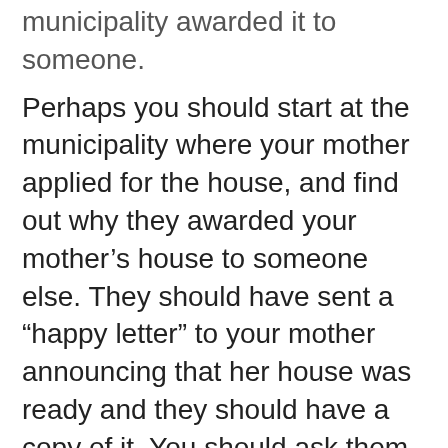municipality awarded it to someone.
Perhaps you should start at the municipality where your mother applied for the house, and find out why they awarded your mother’s house to someone else. They should have sent a “happy letter” to your mother announcing that her house was ready and they should have a copy of it. You should ask them what steps they took to follow up and what steps you can take now. You should take all the documents you have for your mother and write down the date/s when you see the municipality and the response you get from them so that you have a paper trail, or proof, of your efforts to reclaim the house.
Depending on their response, you may want to contact the MEC for Housing in your province and ask them to assist you. The MEC has the power to review decisions about allocation of housing.